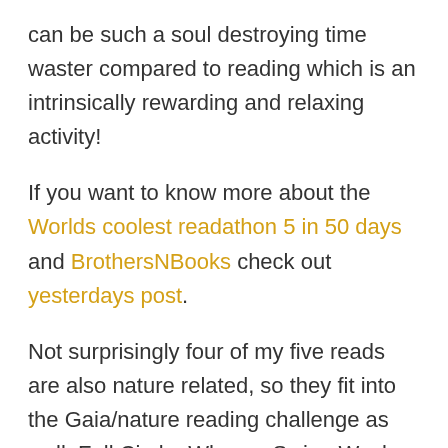can be such a soul destroying time waster compared to reading which is an intrinsically rewarding and relaxing activity!
If you want to know more about the Worlds coolest readathon 5 in 50 days and BrothersNBooks check out yesterdays post.
Not surprisingly four of my five reads are also nature related, so they fit into the Gaia/nature reading challenge as well: Full Circle, Why we Swim, Wesley the Life of a Remarkable owl and Tapestries of Life.